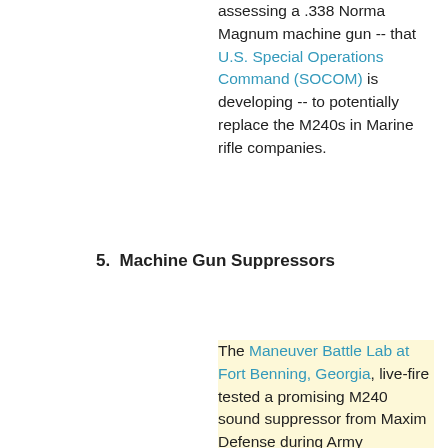assessing a .338 Norma Magnum machine gun -- that U.S. Special Operations Command (SOCOM) is developing -- to potentially replace the M240s in Marine rifle companies.
5.  Machine Gun Suppressors
The Maneuver Battle Lab at Fort Benning, Georgia, live-fire tested a promising M240 sound suppressor from Maxim Defense during Army Expeditionary Warrior Experiment (AEWE) 2021, which began in late October.  Benning officials said this is the first year that a machine gun suppressor has created excitement in the maneuver community.
Other suppressors in past tests have not been able to stand up to the heat and audible roar produced by the 7.62mm M240.  Finding a durable, affordable suppressor that can dampen the sound